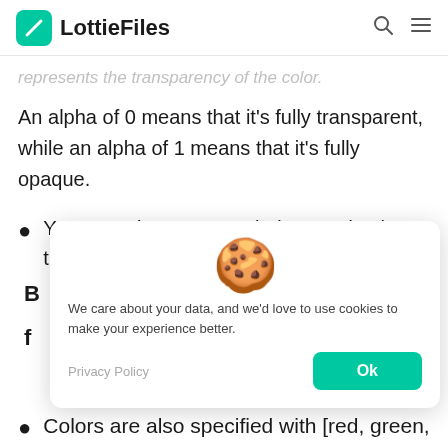LottieFiles
represents the transparency of the color.
An alpha of 0 means that it's fully transparent, while an alpha of 1 means that it's fully opaque.
You may also see RGB being used – that's the same color, without the alpha
B
f
[Figure (illustration): Cookie emoji illustration used in cookie consent banner]
We care about your data, and we'd love to use cookies to make your experience better.
Privacy Policy
Colors are also specified with [red, green,